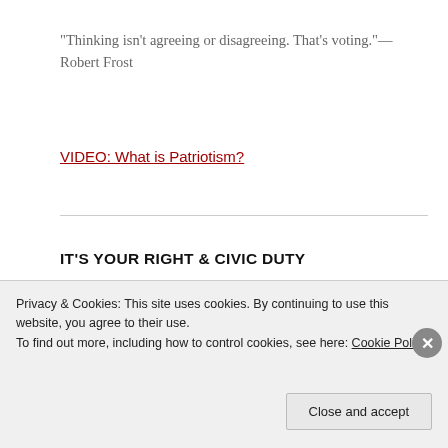"Thinking isn't agreeing or disagreeing. That's voting."—Robert Frost
VIDEO: What is Patriotism?
IT'S YOUR RIGHT & CIVIC DUTY
[Figure (photo): Close-up photograph of clasped hands with text overlay reading 'It's In Your Hands']
Privacy & Cookies: This site uses cookies. By continuing to use this website, you agree to their use.
To find out more, including how to control cookies, see here: Cookie Policy